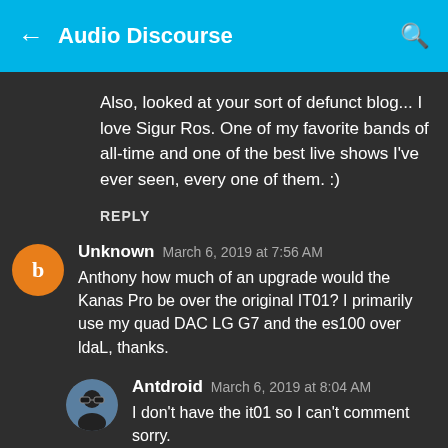Audio Discourse
Also, looked at your sort of defunct blog... I love Sigur Ros. One of my favorite bands of all-time and one of the best live shows I've ever seen, every one of them. :)
REPLY
Unknown  March 6, 2019 at 7:56 AM
Anthony how much of an upgrade would the Kanas Pro be over the original IT01? I primarily use my quad DAC LG G7 and the es100 over ldaL, thanks.
Antdroid  March 6, 2019 at 8:04 AM
I don't have the it01 so I can't comment sorry.